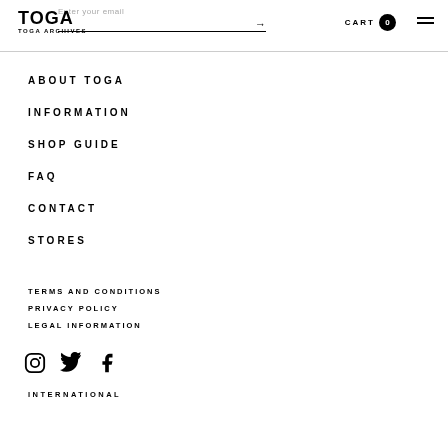TOGA / TOGA ARCHIVES — CART 0
ABOUT TOGA
INFORMATION
SHOP GUIDE
FAQ
CONTACT
STORES
TERMS AND CONDITIONS
PRIVACY POLICY
LEGAL INFORMATION
[Figure (illustration): Social media icons: Instagram, Twitter, Facebook]
INTERNATIONAL